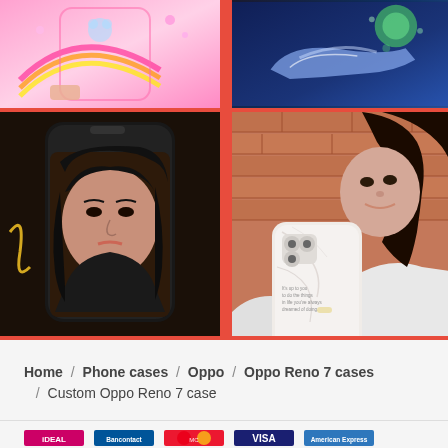[Figure (photo): Product photo collage grid showing custom phone cases: top-left shows a pink Care Bears themed phone case with rainbow design, top-right shows a dark sneaker/Nike themed phone case, center-left shows a phone case with a woman's portrait photo printed on it, center-right shows a woman smiling holding a white marble phone case with a quote text on it.]
Home / Phone cases / Oppo / Oppo Reno 7 cases / Custom Oppo Reno 7 case
[Figure (photo): Payment method icons row: iDEAL, Bancontact, Mastercard, Visa, American Express]